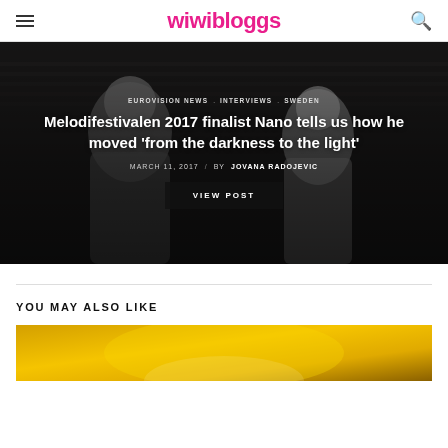wiwibloggs
[Figure (photo): Two men facing each other in what appears to be a backstage or arena setting with stadium seats visible in the background. Dark cinematic photo overlay.]
EUROVISION NEWS. INTERVIEWS. SWEDEN
Melodifestivalen 2017 finalist Nano tells us how he moved ‘from the darkness to the light’
MARCH 11, 2017 / BY JOVANA RADOJEVIC
VIEW POST
YOU MAY ALSO LIKE
[Figure (photo): Partial thumbnail image with yellow/golden stage lighting, bottom of page.]